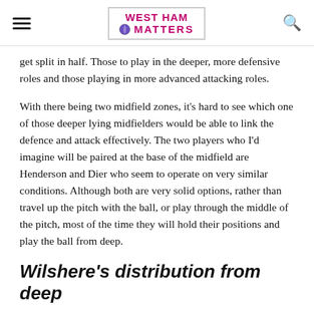WEST HAM MATTERS
get split in half. Those to play in the deeper, more defensive roles and those playing in more advanced attacking roles.
With there being two midfield zones, it's hard to see which one of those deeper lying midfielders would be able to link the defence and attack effectively. The two players who I'd imagine will be paired at the base of the midfield are Henderson and Dier who seem to operate on very similar conditions. Although both are very solid options, rather than travel up the pitch with the ball, or play through the middle of the pitch, most of the time they will hold their positions and play the ball from deep.
Wilshere's distribution from deep